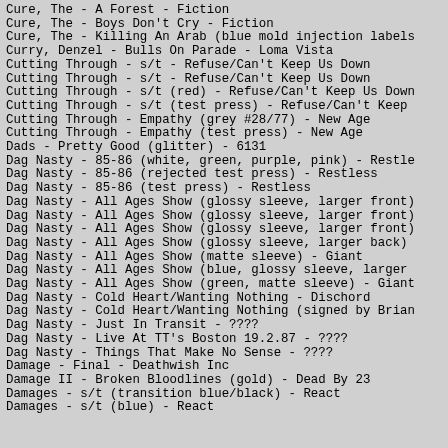Cure, The - A Forest - Fiction
Cure, The - Boys Don't Cry - Fiction
Cure, The - Killing An Arab (blue mold injection labels
Curry, Denzel - Bulls On Parade - Loma Vista
Cutting Through - s/t - Refuse/Can't Keep Us Down
Cutting Through - s/t - Refuse/Can't Keep Us Down
Cutting Through - s/t (red) - Refuse/Can't Keep Us Down
Cutting Through - s/t (test press) - Refuse/Can't Keep
Cutting Through - Empathy (grey #28/77) - New Age
Cutting Through - Empathy (test press) - New Age
Dads - Pretty Good (glitter) - 6131
Dag Nasty - 85-86 (white, green, purple, pink) - Restle
Dag Nasty - 85-86 (rejected test press) - Restless
Dag Nasty - 85-86 (test press) - Restless
Dag Nasty - All Ages Show (glossy sleeve, larger front)
Dag Nasty - All Ages Show (glossy sleeve, larger front)
Dag Nasty - All Ages Show (glossy sleeve, larger front)
Dag Nasty - All Ages Show (glossy sleeve, larger back)
Dag Nasty - All Ages Show (matte sleeve) - Giant
Dag Nasty - All Ages Show (blue, glossy sleeve, larger
Dag Nasty - All Ages Show (green, matte sleeve) - Giant
Dag Nasty - Cold Heart/Wanting Nothing - Dischord
Dag Nasty - Cold Heart/Wanting Nothing (signed by Brian
Dag Nasty - Just In Transit - ????
Dag Nasty - Live At TT's Boston 19.2.87 - ????
Dag Nasty - Things That Make No Sense - ????
Damage - Final - Deathwish Inc
Damage II - Broken Bloodlines (gold) - Dead By 23
Damages - s/t (transition blue/black) - React
Damages - s/t (blue) - React